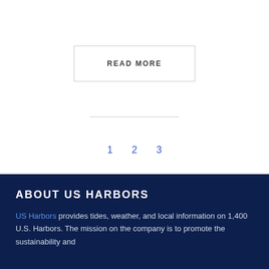READ MORE
1  2  3
ABOUT US HARBORS
US Harbors provides tides, weather, and local information on 1,400 U.S. Harbors. The mission on the company is to promote the sustainability and